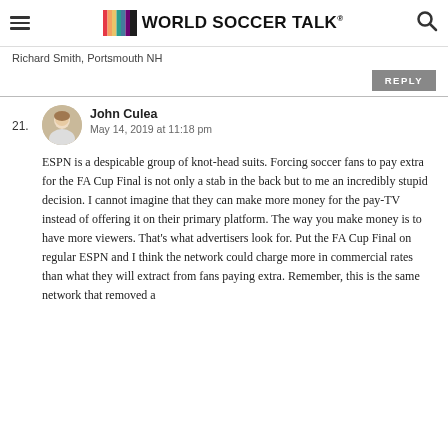World Soccer Talk
Richard Smith, Portsmouth NH
REPLY
21. John Culea
May 14, 2019 at 11:18 pm

ESPN is a despicable group of knot-head suits. Forcing soccer fans to pay extra for the FA Cup Final is not only a stab in the back but to me an incredibly stupid decision. I cannot imagine that they can make more money for the pay-TV instead of offering it on their primary platform. The way you make money is to have more viewers. That's what advertisers look for. Put the FA Cup Final on regular ESPN and I think the network could charge more in commercial rates than what they will extract from fans paying extra. Remember, this is the same network that removed a